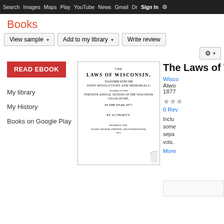Search  Images  Maps  Play  YouTube  News  Gmail  Drive  More  Sign In  ⚙
Books
View sample  ▾    Add to my library  ▾    Write review
READ EBOOK
My library
My History
Books on Google Play
[Figure (photo): Scanned book cover: THE LAWS OF WISCONSIN, TOGETHER WITH THE JOINT RESOLUTIONS AND MEMORIALS, PASSED AT THE FORTIETH ANNUAL SESSION OF THE WISCONSIN LEGISLATURE, IN THE YEAR 1877, BY AUTHORITY. Madison, Wis.: David Atwood, Printer and Stereotyper, 1877.]
The Laws of Wi...
Wisco...
Atwo...
1877
★★★
0 Rev...
Inclu... some... sepa... vols.
More...